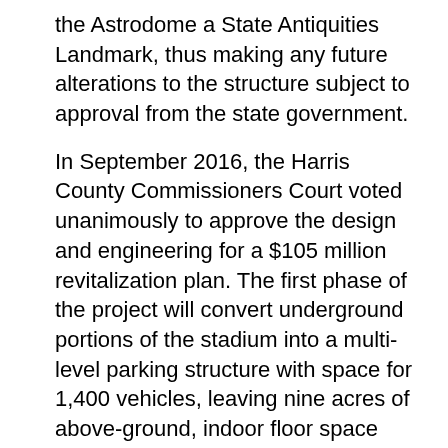the Astrodome a State Antiquities Landmark, thus making any future alterations to the structure subject to approval from the state government.
In September 2016, the Harris County Commissioners Court voted unanimously to approve the design and engineering for a $105 million revitalization plan. The first phase of the project will convert underground portions of the stadium into a multi-level parking structure with space for 1,400 vehicles, leaving nine acres of above-ground, indoor floor space available for commercial redevelopment. The plan received final approval in February 2018, and construction is expected to begin in October 2018. The plan ensures this pioneering Texas structure will stand for many more years to come.
Click on Cover below to purchase the Texas Sports book from the Texas Historical Society